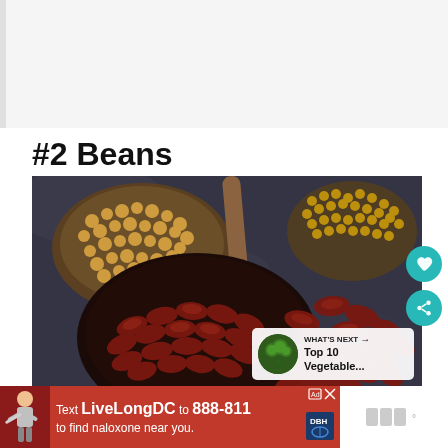#2 Beans
[Figure (photo): Overhead photo of various beans and legumes including red kidney beans in a bowl, soybeans, lentils, and mustard seeds on a dark stone surface, with a wooden spoon]
[Figure (infographic): What's Next panel showing broccoli thumbnail with text 'WHAT'S NEXT → Top 10 Vegetable...']
[Figure (infographic): Advertisement banner: 'Text LiveLongDC to 888-811 to find naloxone near you.' on red background with DBH logo]